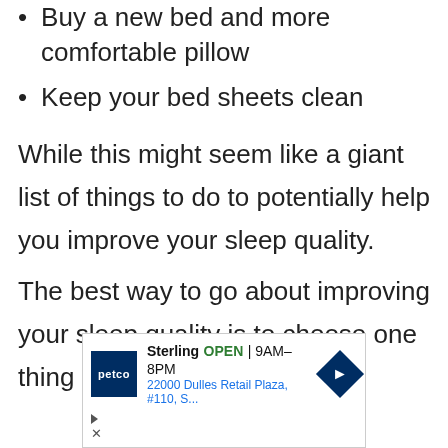Buy a new bed and more comfortable pillow
Keep your bed sheets clean
While this might seem like a giant list of things to do to potentially help you improve your sleep quality.
The best way to go about improving your sleep quality is to choose one thing
[Figure (screenshot): Advertisement for Petco Sterling location showing store name, OPEN status, hours 9AM-8PM, and address 22000 Dulles Retail Plaza, #110, S... with navigation arrow icon and ad controls]